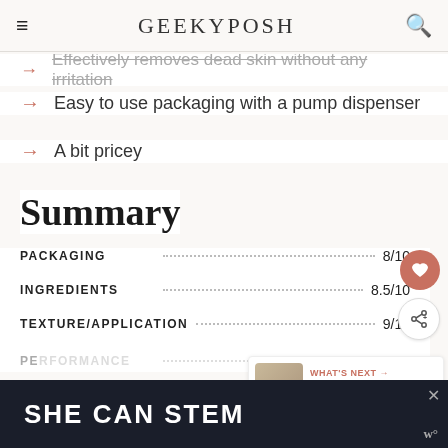GEEKYPOSH
Effectively removes dead skin without any irritation
Easy to use packaging with a pump dispenser
A bit pricey
Summary
| Category | Score |
| --- | --- |
| PACKAGING | 8/10 |
| INGREDIENTS | 8.5/10 |
| TEXTURE/APPLICATION | 9/10 |
| PERFORMANCE | 9/10 |
[Figure (other): SHE CAN STEM advertisement banner (dark background with bold white text)]
WHAT'S NEXT → Neogen Real Ferment Mic...